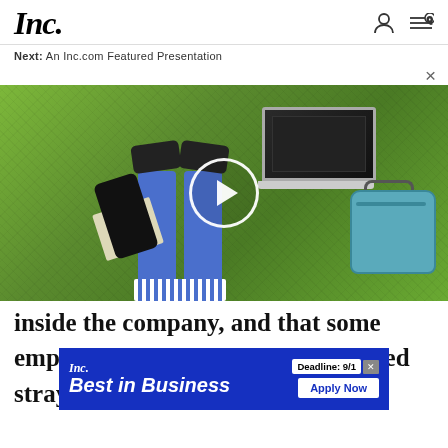Inc.
Next: An Inc.com Featured Presentation
[Figure (photo): Overhead/top-down view of a person lying on grass wearing blue jeans and black sneakers, with a laptop, teal bag, and phone/box nearby. A white play button circle is overlaid in the center.]
inside the company, and that some employees have quit over a perceived stray
[Figure (screenshot): Inc. Best in Business advertisement banner. Shows Inc. logo, 'Best in Business' text in white bold italic, 'Deadline: 9/1' label and 'Apply Now' button on the right.]